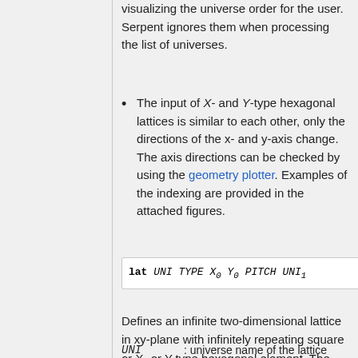visualizing the universe order for the user. Serpent ignores them when processing the list of universes.
The input of X- and Y-type hexagonal lattices is similar to each other, only the directions of the x- and y-axis change. The axis directions can be checked by using the geometry plotter. Examples of the indexing are provided in the attached figures.
Defines an infinite two-dimensional lattice in xy-plane with infinitely repeating square or X- or Y-type hexagonal element. The lattice is infinite in z-direction.
UNI : universe name of the lattice